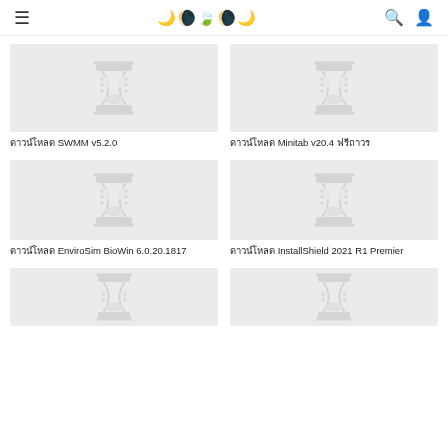☰  ☽☽🌿☽☽  🔍 👤
[Figure (screenshot): Software listing card with placeholder hourglass image for SWMM v5.2.0]
ดาวน์โหลด SWMM v5.2.0
[Figure (screenshot): Software listing card with placeholder hourglass image for Minitab v20.4]
ดาวน์โหลด Minitab v20.4 ฟรีถาวร
[Figure (screenshot): Software listing card with placeholder hourglass image for EnviroSim BioWin 6.0.20.1817]
ดาวน์โหลด EnviroSim BioWin 6.0.20.1817
[Figure (screenshot): Software listing card with placeholder hourglass image for InstallShield 2021 R1 Premier]
ดาวน์โหลด InstallShield 2021 R1 Premier
[Figure (screenshot): Software listing card with placeholder hourglass image (partial, bottom of page)]
[Figure (screenshot): Software listing card with placeholder hourglass image (partial, bottom of page)]